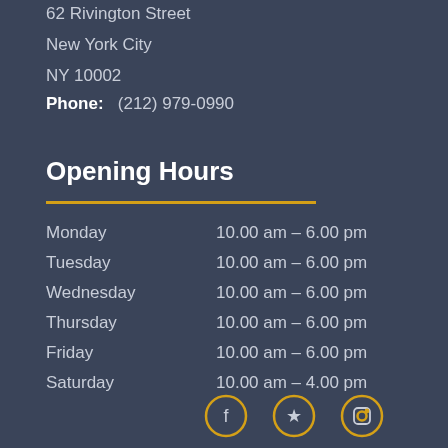62 Rivington Street
New York City
NY 10002
Phone:   (212) 979-0990
Opening Hours
| Day | Hours |
| --- | --- |
| Monday | 10.00 am – 6.00 pm |
| Tuesday | 10.00 am – 6.00 pm |
| Wednesday | 10.00 am – 6.00 pm |
| Thursday | 10.00 am – 6.00 pm |
| Friday | 10.00 am – 6.00 pm |
| Saturday | 10.00 am – 4.00 pm |
[Figure (other): Three social media icons (Facebook, Yelp, Instagram) in gold circles]